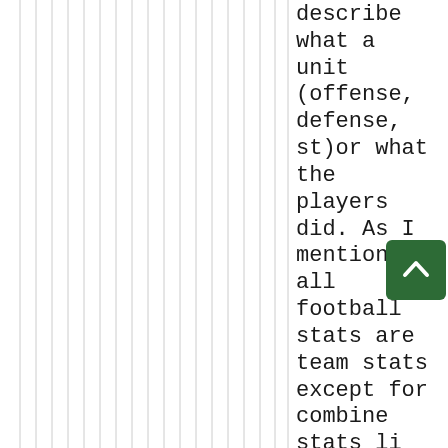describe what a unit (offense, defense, st)or what the players did. As I mentioned all football stats are team stats except for combine stats like 40 times etc. We seem to forget that
[Figure (other): Scroll-to-top button: dark green rounded square with white upward chevron arrow]